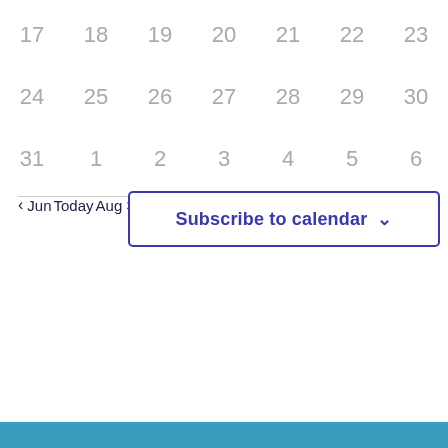[Figure (other): Calendar grid showing dates 17-23, 24-30, 31 and 1-6, with navigation controls (Jun, Today, Aug arrows) and a Subscribe to calendar button with dropdown chevron. Blue footer bar at bottom.]